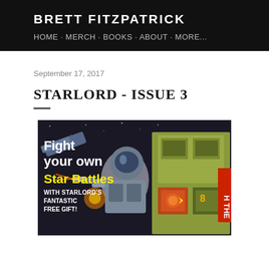BRETT FITZPATRICK
HOME · MERCH · BOOKS · ABOUT · MORE...
September 17, 2017
STARLORD - ISSUE 3
[Figure (illustration): Comic book cover of Starlord Issue 3. Text reads 'Fight your own Star Battles WITH STARLORD'S FANTASTIC FREE GIFT!' with an illustration of a spaceman/robot in a space battle scene with spacecraft and machinery. Partial text visible on right edge reading 'H THE'.]